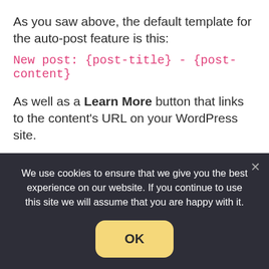As you saw above, the default template for the auto-post feature is this:
New post: {post-title} - {post-content}
As well as a Learn More button that links to the content's URL on your WordPress site.
However, you also have the ability to fully customize this template, including an option to add variables and Spintax.
We use cookies to ensure that we give you the best experience on our website. If you continue to use this site we will assume that you are happy with it.